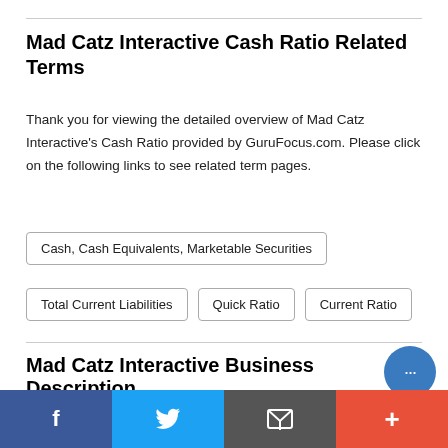Mad Catz Interactive Cash Ratio Related Terms
Thank you for viewing the detailed overview of Mad Catz Interactive's Cash Ratio provided by GuruFocus.com. Please click on the following links to see related term pages.
Cash, Cash Equivalents, Marketable Securities
Total Current Liabilities
Quick Ratio
Current Ratio
Mad Catz Interactive Business Description
Industry
GURUFOCUS.COM » STOCK LIST » Technology » Hardware » Mad Catz